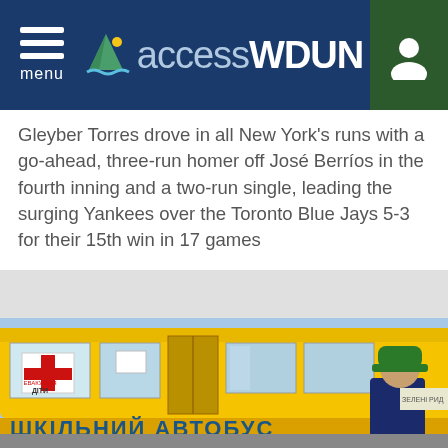accessWDUN
Gleyber Torres drove in all New York's runs with a go-ahead, three-run homer off José Berríos in the fourth inning and a two-run single, leading the surging Yankees over the Toronto Blue Jays 5-3  for their 15th win in 17 games
5:36PM ( 29 minutes ago )
[Figure (photo): Yellow Ukrainian evacuation bus with Cyrillic text reading 'ЕВАКУАЦІЯ ДІТИ' (Evacuation Children) and 'ШКІЛЬНИЙ АВТОБУС' (School Bus). People are boarding or disembarking the bus outdoors under a blue sky.]